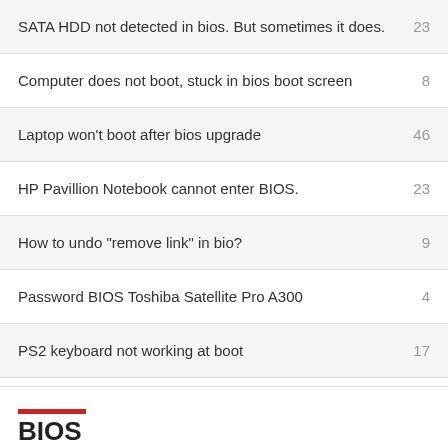SATA HDD not detected in bios. But sometimes it does.
Computer does not boot, stuck in bios boot screen
Laptop won't boot after bios upgrade
HP Pavillion Notebook cannot enter BIOS.
How to undo "remove link" in bio?
Password BIOS Toshiba Satellite Pro A300
PS2 keyboard not working at boot
Acer Aspire one ZG5 cant flash bios
Hard disk not detected in BIOS
BIOS